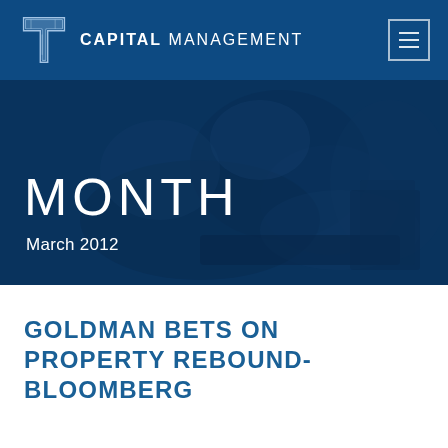CAPITAL MANAGEMENT
[Figure (illustration): T Capital Management logo — stylized T letterform in light blue/white on dark blue background]
MONTH
March 2012
[Figure (photo): Dark blue tinted photo of a person at a desk working, with books/papers visible, overlaid with dark blue wash]
GOLDMAN BETS ON PROPERTY REBOUND-BLOOMBERG